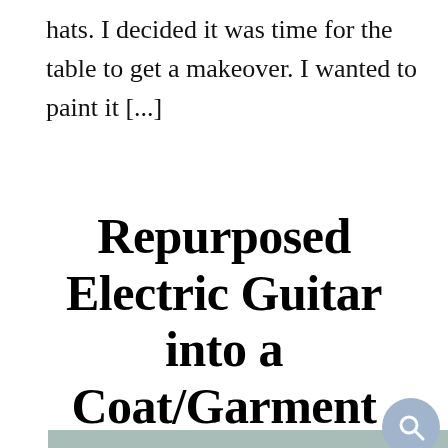hats. I decided it was time for the table to get a makeover. I wanted to paint it [...]
Repurposed Electric Guitar into a Coat/Garment Rack
[Figure (photo): Partial view of a photo showing what appears to be a guitar-shaped object on a muted green/grey background, with an image of a coat hanger or guitar neck shape]
An electric guitar